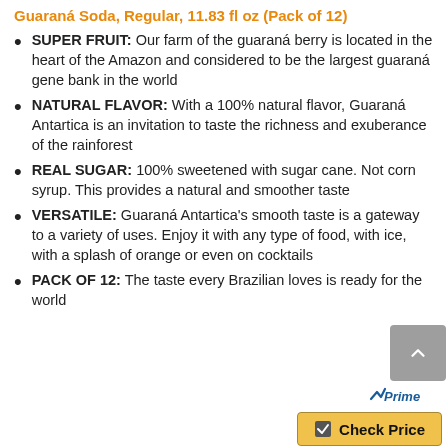Guaraná Soda, Regular, 11.83 fl oz (Pack of 12)
SUPER FRUIT: Our farm of the guaraná berry is located in the heart of the Amazon and considered to be the largest guaraná gene bank in the world
NATURAL FLAVOR: With a 100% natural flavor, Guaraná Antartica is an invitation to taste the richness and exuberance of the rainforest
REAL SUGAR: 100% sweetened with sugar cane. Not corn syrup. This provides a natural and smoother taste
VERSATILE: Guaraná Antartica's smooth taste is a gateway to a variety of uses. Enjoy it with any type of food, with ice, with a splash of orange or even on cocktails
PACK OF 12: The taste every Brazilian loves is ready for the world